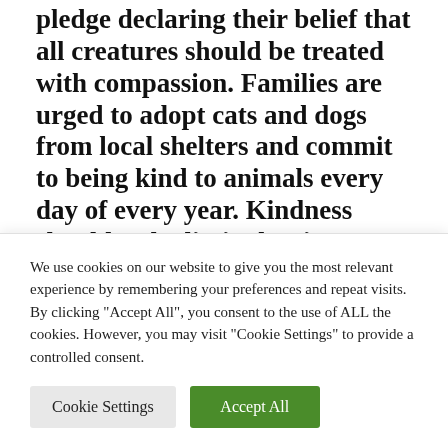pledge declaring their belief that all creatures should be treated with compassion. Families are urged to adopt cats and dogs from local shelters and commit to being kind to animals every day of every year. Kindness shouldn't be limited to just one species.
Why is respecting wild animals
We use cookies on our website to give you the most relevant experience by remembering your preferences and repeat visits. By clicking "Accept All", you consent to the use of ALL the cookies. However, you may visit "Cookie Settings" to provide a controlled consent.